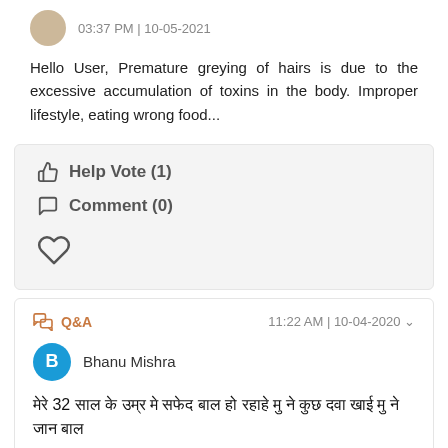03:37 PM | 10-05-2021
Hello User, Premature greying of hairs is due to the excessive accumulation of toxins in the body. Improper lifestyle, eating wrong food...
👍 Help Vote (1)
💬 Comment (0)
[Figure (other): Heart/favorite icon (outline heart shape)]
Q&A   11:22 AM | 10-04-2020
B   Bhanu Mishra
मेरे 32 साल के उम्र मे सफेद बाल हो रहाहे मु ने कुछ दवा खाई मु ने जान बाल